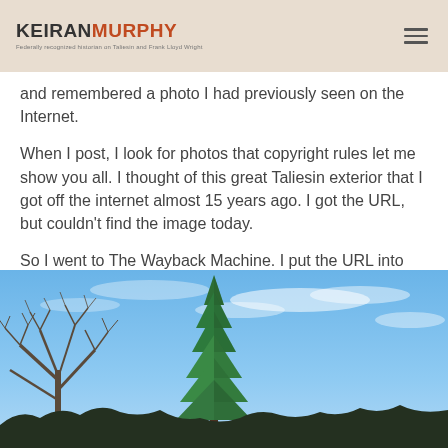KEIRAN MURPHY — Federally recognized historian on Taliesin and Frank Lloyd Wright
and remembered a photo I had previously seen on the Internet.
When I post, I look for photos that copyright rules let me show you all. I thought of this great Taliesin exterior that I got off the internet almost 15 years ago. I got the URL, but couldn't find the image today.
So I went to The Wayback Machine. I put the URL into their archive, and the photo below came up:
[Figure (photo): Outdoor photo showing tree tops — a bare deciduous tree on the left and a tall green pine/evergreen tree in the center — against a bright blue sky with wispy clouds. Dark hillside or roofline visible at the bottom.]